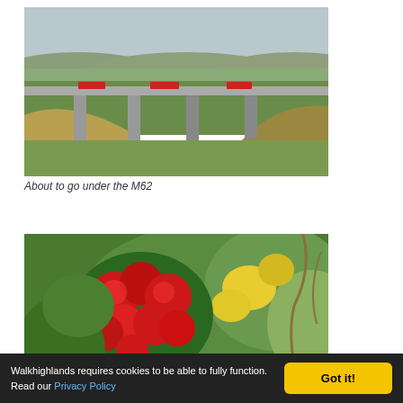[Figure (photo): A highway viaduct (M62 motorway) with red lorries/trucks crossing it, set against a green and golden hillside landscape with a town visible in the background under an overcast sky.]
About to go under the M62
[Figure (photo): Dense flowering shrubs featuring red rhododendron blooms and yellow flowers mixed with green foliage and bare branches, taken in a natural outdoor setting.]
Walkhighlands requires cookies to be able to fully function. Read our Privacy Policy